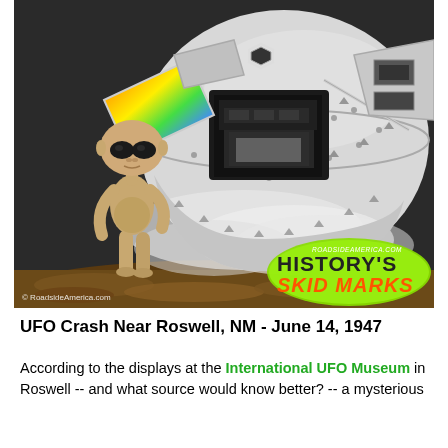[Figure (photo): A museum display showing a crashed UFO / flying saucer prop with grey alien figure standing beside it. The saucer is silver/white with rivets and an open hatch revealing a cockpit interior. Holographic/rainbow panels are visible. A green logo overlay in the bottom-right reads 'RoadsideAmerica.com History's Skid Marks'. A copyright notice reads '© RoadsideAmerica.com' in the bottom-left.]
UFO Crash Near Roswell, NM - June 14, 1947
According to the displays at the International UFO Museum in Roswell -- and what source would know better? -- a mysterious